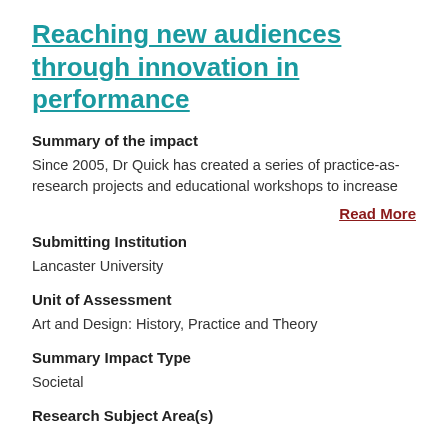Reaching new audiences through innovation in performance
Summary of the impact
Since 2005, Dr Quick has created a series of practice-as-research projects and educational workshops to increase
Read More
Submitting Institution
Lancaster University
Unit of Assessment
Art and Design: History, Practice and Theory
Summary Impact Type
Societal
Research Subject Area(s)